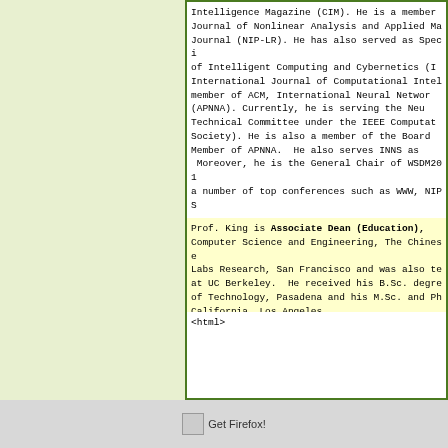Intelligence Magazine (CIM). He is a member Journal of Nonlinear Analysis and Applied Ma Journal (NIP-LR). He has also served as Speci of Intelligent Computing and Cybernetics (I International Journal of Computational Intel member of ACM, International Neural Networ (APNNA). Currently, he is serving the Neu Technical Committee under the IEEE Computat Society). He is also a member of the Board Member of APNNA.  He also serves INNS as  Moreover, he is the General Chair of WSDM20 a number of top conferences such as WWW, NIPS
Prof. King is Associate Dean (Education), Computer Science and Engineering, The Chinese Labs Research, San Francisco and was also te at UC Berkeley.  He received his B.Sc. degre of Technology, Pasadena and his M.Sc. and Ph California, Los Angeles.
<html>
Get Firefox!